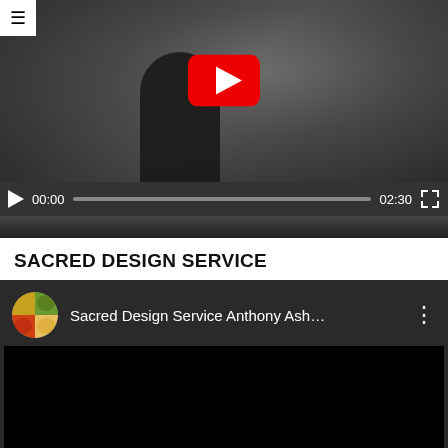[Figure (screenshot): YouTube video player showing a dark outdoor scene with a person in black jacket. Video controls show 00:00 current time and 02:30 duration. A YouTube play button logo is visible. A hamburger menu icon is in the top-left corner.]
SACRED DESIGN SERVICE
[Figure (screenshot): Second YouTube video player with dark background. Channel header shows a circular food/nature avatar and title 'Sacred Design Service Anthony Ash...' with three-dot menu. Video area is black. Controls show 00:00 current time and 01:54 duration.]